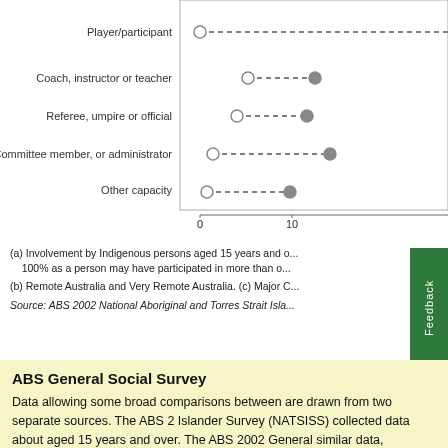[Figure (other): Dot plot (dumbbell chart) showing involvement in sport by role type. Categories: Player/participant, Coach instructor or teacher, Referee umpire or official, Committee member or administrator, Other capacity. X-axis from 0 to 10+. Two data points per row connected by dashed line (open circle and filled circle).]
(a) Involvement by Indigenous persons aged 15 years and o... 100% as a person may have participated in more than o... (b) Remote Australia and Very Remote Australia. (c) Major C...
Source: ABS 2002 National Aboriginal and Torres Strait Isla...
ABS General Social Survey
Data allowing some broad comparisons between are drawn from two separate sources. The ABS 2 Islander Survey (NATSISS) collected data about aged 15 years and over. The ABS 2002 General similar data, particularly in relation to participatio... Indigenous adults aged 18 years and over.